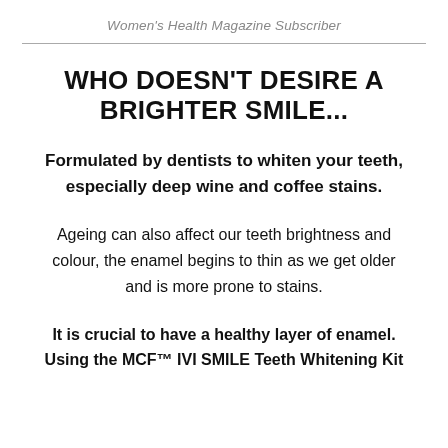Women's Health Magazine Subscriber
WHO DOESN'T DESIRE A BRIGHTER SMILE...
Formulated by dentists to whiten your teeth, especially deep wine and coffee stains.
Ageing can also affect our teeth brightness and colour, the enamel begins to thin as we get older and is more prone to stains.
It is crucial to have a healthy layer of enamel. Using the MCF™ IVI SMILE Teeth Whitening Kit